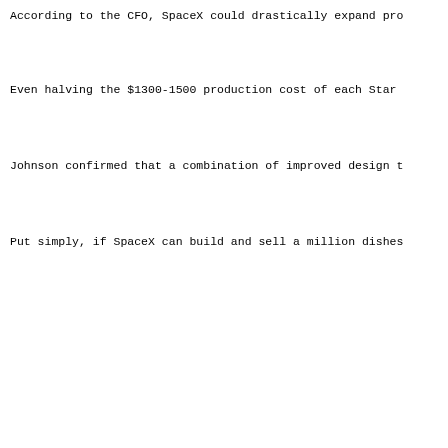According to the CFO, SpaceX could drastically expand pro
Even halving the $1300-1500 production cost of each Star
Johnson confirmed that a combination of improved design t
Put simply, if SpaceX can build and sell a million dishes